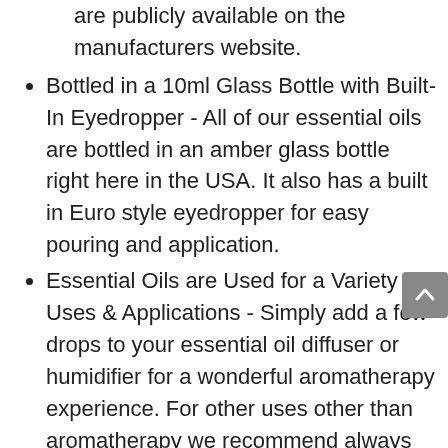are publicly available on the manufacturers website.
Bottled in a 10ml Glass Bottle with Built-In Eyedropper - All of our essential oils are bottled in an amber glass bottle right here in the USA. It also has a built in Euro style eyedropper for easy pouring and application.
Essential Oils are Used for a Variety of Uses & Applications - Simply add a few drops to your essential oil diffuser or humidifier for a wonderful aromatherapy experience. For other uses other than aromatherapy we recommend always diluting with a carrier oil.
Healing Solutions Only Offers the Highest Quality Essential Oils Available - Healing Solutions is an American based company